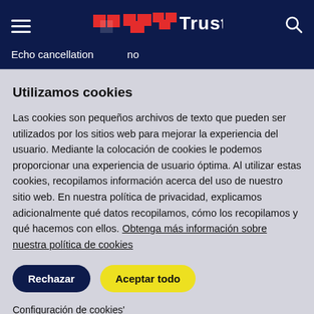Trust — Echo cancellation  no
Utilizamos cookies
Las cookies son pequeños archivos de texto que pueden ser utilizados por los sitios web para mejorar la experiencia del usuario. Mediante la colocación de cookies le podemos proporcionar una experiencia de usuario óptima. Al utilizar estas cookies, recopilamos información acerca del uso de nuestro sitio web. En nuestra política de privacidad, explicamos adicionalmente qué datos recopilamos, cómo los recopilamos y qué hacemos con ellos. Obtenga más información sobre nuestra política de cookies
Rechazar
Aceptar todo
Configuración de cookies'